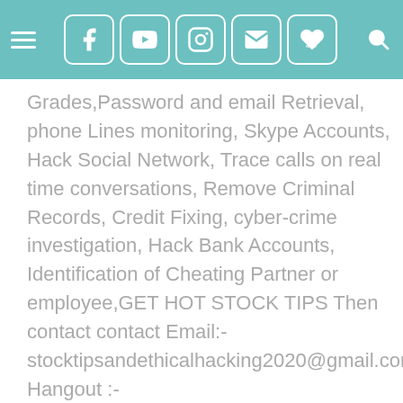[Figure (other): Website header bar with teal/cyan background containing a hamburger menu icon on the left, social media icons (Facebook, YouTube, Instagram, Email, Order Now heart), and a search icon on the right]
Grades,Password and email Retrieval, phone Lines monitoring, Skype Accounts, Hack Social Network, Trace calls on real time conversations, Remove Criminal Records, Credit Fixing, cyber-crime investigation, Hack Bank Accounts, Identification of Cheating Partner or employee,GET HOT STOCK TIPS Then contact contact Email:- stocktipsandethicalhacking2020@gmail.com Hangout :- stocktipsandethicalhacking2020@gmail.com Business Whatsapp :-  +1 (925) 291-0054) or click on this link to chat on whatsapp https://wa.me/message/BE53BRYIJ4